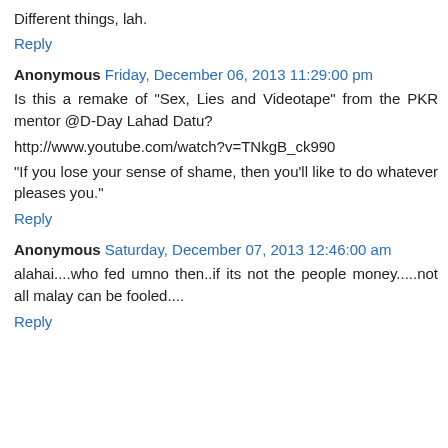Different things, lah.
Reply
Anonymous Friday, December 06, 2013 11:29:00 pm
Is this a remake of "Sex, Lies and Videotape" from the PKR mentor @D-Day Lahad Datu?
http://www.youtube.com/watch?v=TNkgB_ck990
"If you lose your sense of shame, then you'll like to do whatever pleases you."
Reply
Anonymous Saturday, December 07, 2013 12:46:00 am
alahai....who fed umno then..if its not the people money.....not all malay can be fooled....
Reply